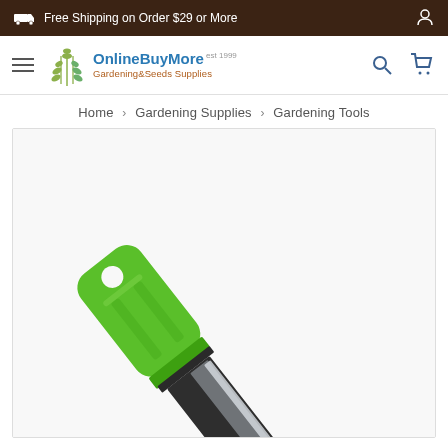Free Shipping on Order $29 or More
[Figure (logo): OnlineBuyMore Gardening & Seeds Supplies logo with wheat/leaf graphic]
Home › Gardening Supplies › Gardening Tools
[Figure (photo): Close-up photo of a gardening knife/tool with a green plastic handle and a dark metal blade with silver edge, angled diagonally from upper-left to lower-right on white background]